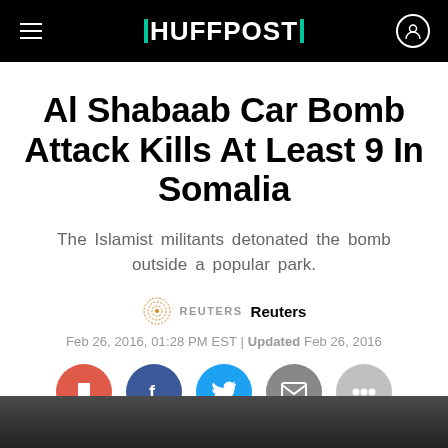HUFFPOST
Al Shabaab Car Bomb Attack Kills At Least 9 In Somalia
The Islamist militants detonated the bomb outside a popular park.
REUTERS  Reuters
Feb 26, 2016, 01:28 PM EST | Updated Feb 26, 2016
[Figure (other): Social sharing buttons: bookmark (red), Facebook (dark blue), Twitter (light blue), email (grey), more (light grey)]
[Figure (photo): Bottom strip showing partial dark photograph]